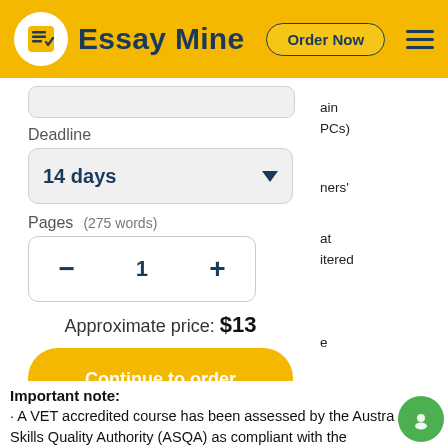Essay Mine  Order Now
Deadline
14 days
Pages  (275 words)
1
Approximate price: $13
Continue to order
Important note:
· A VET accredited course has been assessed by the Australian Skills Quality Authority (ASQA) as compliant with the